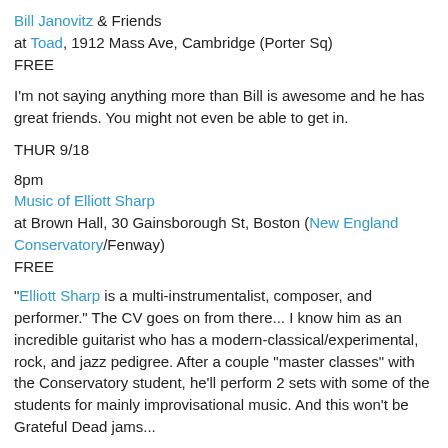Bill Janovitz & Friends at Toad, 1912 Mass Ave, Cambridge (Porter Sq) FREE
I'm not saying anything more than Bill is awesome and he has great friends. You might not even be able to get in.
THUR 9/18
8pm Music of Elliott Sharp at Brown Hall, 30 Gainsborough St, Boston (New England Conservatory/Fenway) FREE
"Elliott Sharp is a multi-instrumentalist, composer, and performer." The CV goes on from there... I know him as an incredible guitarist who has a modern-classical/experimental, rock, and jazz pedigree. After a couple "master classes" with the Conservatory student, he'll perform 2 sets with some of the students for mainly improvisational music. And this won't be Grateful Dead jams...